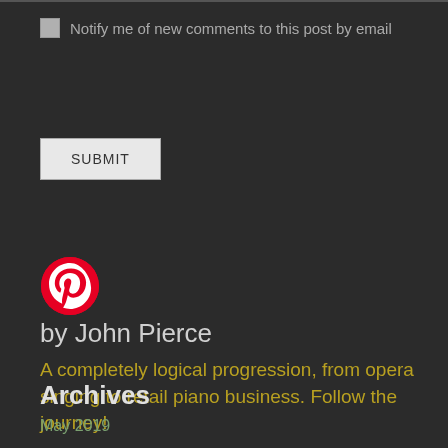Notify me of new comments to this post by email
SUBMIT
[Figure (logo): Pinterest circular logo — red circle with white P]
by John Pierce
A completely logical progression, from opera singing to retail piano business. Follow the journey!
Archives
May 2019